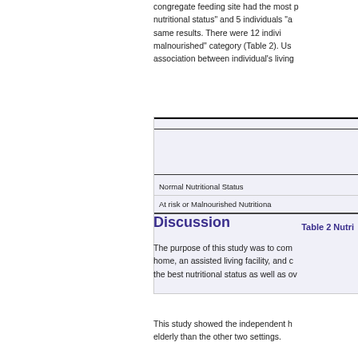congregate feeding site had the most p nutritional status" and 5 individuals "a same results. There were 12 indivi malnourished" category (Table 2). Us association between individual's living
| Normal Nutritional Status | At risk or Malnourished Nutritiona |
| --- | --- |
Table 2 Nutri
Discussion
The purpose of this study was to com home, an assisted living facility, and c the best nutritional status as well as ov
This study showed the independent h elderly than the other two settings.